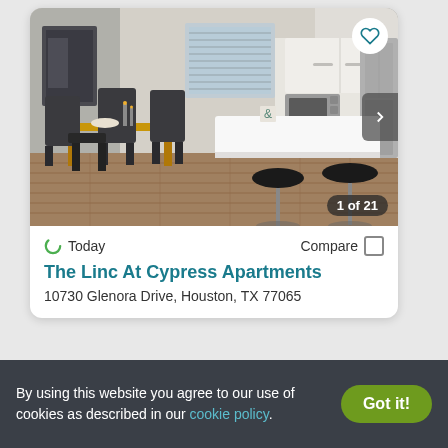[Figure (photo): Interior photo of a modern apartment showing a dining area with a wood table and dark chairs on the left, and a kitchen with white cabinets, stainless steel microwave and appliances, white counter island with two black bar stools on the right. Photo carousel showing 1 of 21 images.]
Today
Compare
The Linc At Cypress Apartments
10730 Glenora Drive, Houston, TX 77065
By using this website you agree to our use of cookies as described in our cookie policy.